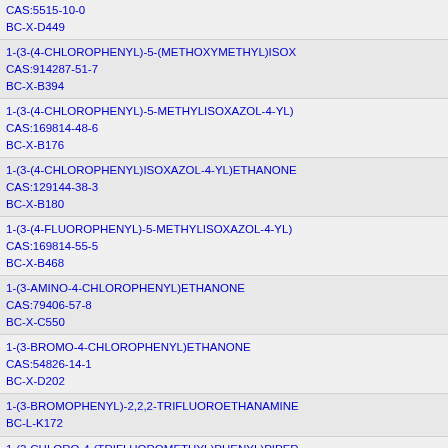CAS:5515-10-0
BC-X-D449
1-(3-(4-CHLOROPHENYL)-5-(METHOXYMETHYL)ISOX...
CAS:914287-51-7
BC-X-B394
1-(3-(4-CHLOROPHENYL)-5-METHYLISOXAZOL-4-YL)...
CAS:169814-48-6
BC-X-B176
1-(3-(4-CHLOROPHENYL)ISOXAZOL-4-YL)ETHANONE...
CAS:129144-38-3
BC-X-B180
1-(3-(4-FLUOROPHENYL)-5-METHYLISOXAZOL-4-YL)...
CAS:169814-55-5
BC-X-B468
1-(3-AMINO-4-CHLOROPHENYL)ETHANONE
CAS:79406-57-8
BC-X-C550
1-(3-BROMO-4-CHLOROPHENYL)ETHANONE
CAS:54826-14-1
BC-X-D202
1-(3-BROMOPHENYL)-2,2,2-TRIFLUOROETHANAMIN...
BC-L-K172
1-(3-CHLORO-4-(TRIFLUOROMETHYL)PHENYL)PIPE...
CAS:888327-52-4
BC-J-406
1-(3-CHLORO-4-(TRIFLUOROMETHYL)PHENYL)PIPE...
CAS:888327-52-4
BC-X-B393
1-(3-CHLOROPYRIDIN-4-YL)ETHANONE